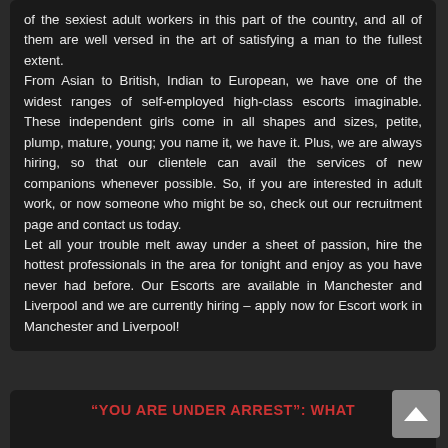of the sexiest adult workers in this part of the country, and all of them are well versed in the art of satisfying a man to the fullest extent.
From Asian to British, Indian to European, we have one of the widest ranges of self-employed high-class escorts imaginable. These independent girls come in all shapes and sizes, petite, plump, mature, young; you name it, we have it. Plus, we are always hiring, so that our clientele can avail the services of new companions whenever possible. So, if you are interested in adult work, or now someone who might be so, check out our recruitment page and contact us today.
Let all your trouble melt away under a sheet of passion, hire the hottest professionals in the area for tonight and enjoy as you have never had before. Our Escorts are available in Manchester and Liverpool and we are currently hiring – apply now for Escort work in Manchester and Liverpool!
“YOU ARE UNDER ARREST”: WHAT